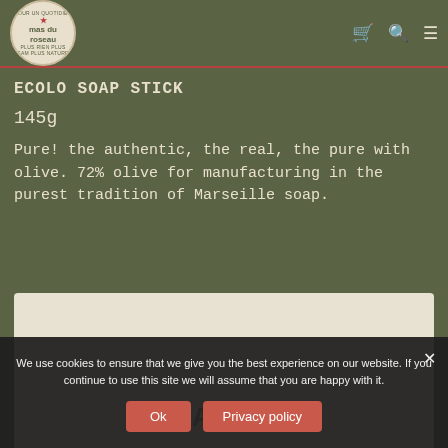mas du roseau — navigation header with cart, search, menu icons
ECOЛО SOAP STICK
145g
Pure! the authentic, the real, the pure with olive. 72% olive for manufacturing in the purest tradition of Marseille soap.
[Figure (photo): Product image area showing SAVON text on a light cream background]
We use cookies to ensure that we give you the best experience on our website. If you continue to use this site we will assume that you are happy with it.